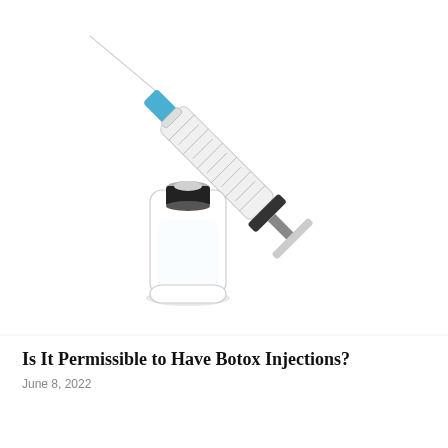[Figure (photo): A medical glass vial with a metal cap and a syringe with a blue needle cap leaning against it, on a white background.]
Is It Permissible to Have Botox Injections?
June 8, 2022